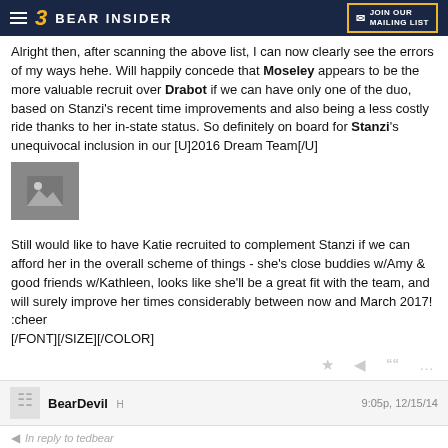BEAR INSIDER — JOIN OUR MAILING LIST
Alright then, after scanning the above list, I can now clearly see the errors of my ways hehe. Will happily concede that Moseley appears to be the more valuable recruit over Drabot if we can have only one of the duo, based on Stanzi's recent time improvements and also being a less costly ride thanks to her in-state status. So definitely on board for Stanzi's unequivocal inclusion in our [U]2016 Dream Team[/U]
[Figure (photo): Image placeholder showing mountain/photo icon]
Still would like to have Katie recruited to complement Stanzi if we can afford her in the overall scheme of things - she's close buddies w/Amy & good friends w/Kathleen, looks like she'll be a great fit with the team, and will surely improve her times considerably between now and March 2017! :cheer
[/FONT][/SIZE][/COLOR]
BearDevil H — 9:05p, 12/15/14
In reply to tedbear
Sincere thanks for the kind words, UAC and for all you and others add to the board. Looking at potential relay components is the way to go